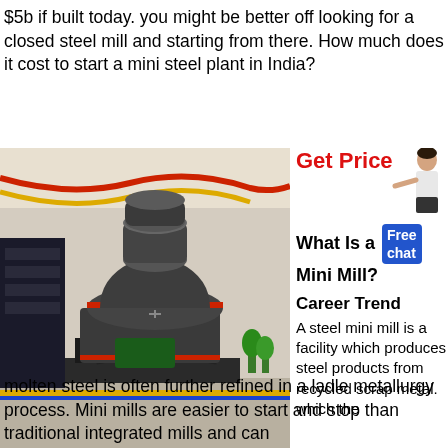$5b if built today. you might be better off looking for a closed steel mill and starting from there. How much does it cost to start a mini steel plant in India?
[Figure (photo): Large industrial steel mill machine (grey cylindrical grinding mill) in a factory hall with red/yellow bunting decoration]
Get Price
[Figure (illustration): Small illustration of a woman in business attire pointing]
What Is a Mini Mill? Career Trend
A steel mini mill is a facility which produces steel products from recycled scrap metal. which the molten steel is often further refined in a ladle metallurgy process. Mini mills are easier to start and stop than traditional integrated mills and can